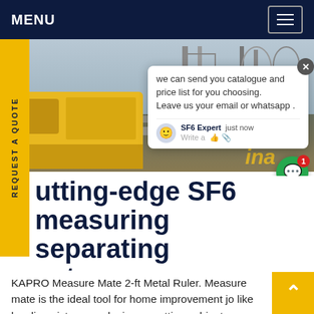MENU
[Figure (photo): Industrial construction site with yellow truck/vehicle on the left, scaffolding and metal structures in the background, overcast sky.]
we can send you catalogue and price list for you choosing. Leave us your email or whatsapp .
utting-edge SF6 measuring separating ost
KAPRO Measure Mate 2-ft Metal Ruler. Measure mate is the ideal tool for home improvement jo like leveling pictures and mirrors, setting cabinets